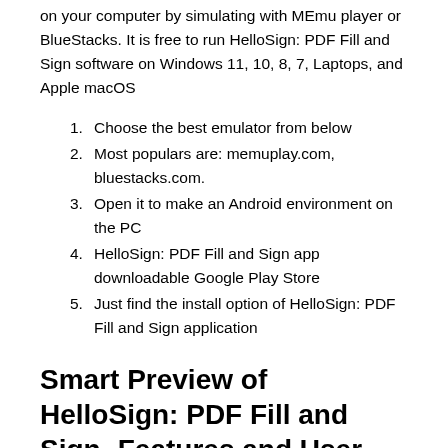on your computer by simulating with MEmu player or BlueStacks. It is free to run HelloSign: PDF Fill and Sign software on Windows 11, 10, 8, 7, Laptops, and Apple macOS
1. Choose the best emulator from below
2. Most populars are: memuplay.com, bluestacks.com.
3. Open it to make an Android environment on the PC
4. HelloSign: PDF Fill and Sign app downloadable Google Play Store
5. Just find the install option of HelloSign: PDF Fill and Sign application
Smart Preview of HelloSign: PDF Fill and Sign- Features and User Guide
Fill and sign documents, forms, and PDF files with HelloSign, secure e signature app. HelloSign is your document signer, PDF filler, form filler, and e signature maker. Fill and sign documents with your e sign and e sig signing to for